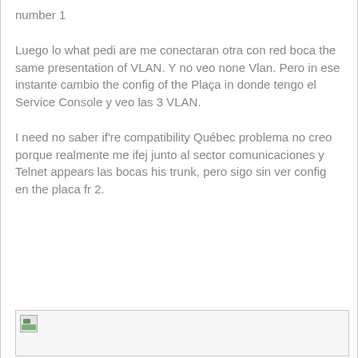number 1
Luego lo what pedi are me conectaran otra con red boca the same presentation of VLAN. Y no veo none Vlan. Pero in ese instante cambio the config of the Plaça in donde tengo el Service Console y veo las 3 VLAN.
I need no saber if're compatibility Québec problema no creo porque realmente me ifej junto al sector comunicaciones y Telnet appears las bocas his trunk, pero sigo sin ver config en the placa fr 2.
[Figure (photo): Broken/missing image placeholder icon with a small landscape thumbnail icon in the top-left corner]